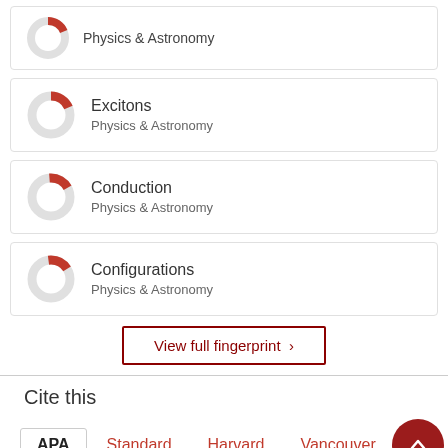[Figure (donut-chart): Partial donut chart for Physics & Astronomy (top partial card)]
[Figure (donut-chart): Small donut chart with red segment, labeled Excitons / Physics & Astronomy]
[Figure (donut-chart): Small donut chart with red segment, labeled Conduction / Physics & Astronomy]
[Figure (donut-chart): Small donut chart with red segment, labeled Configurations / Physics & Astronomy]
View full fingerprint >
Cite this
APA  Standard  Harvard  Vancouver